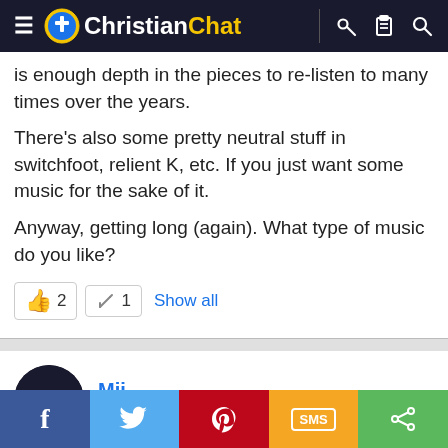Christian Chat
is enough depth in the pieces to re-listen to many times over the years.
There’s also some pretty neutral stuff in switchfoot, relient K, etc. If you just want some music for the sake of it.
Anyway, getting long (again). What type of music do you like?
👍 2   ✏ 1   Show all
Mii
Well-known member